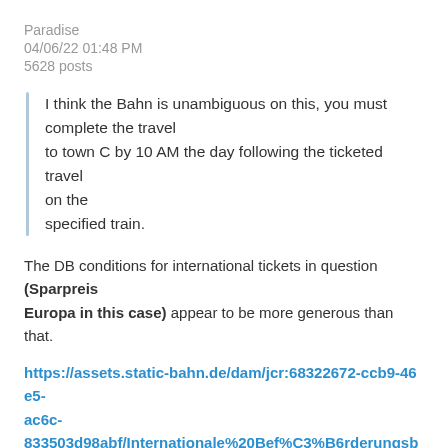Paradise
04/06/22 01:48 PM
5628 posts
I think the Bahn is unambiguous on this, you must complete the travel to town C by 10 AM the day following the ticketed travel on the specified train.
The DB conditions for international tickets in question (Sparpreis Europa in this case) appear to be more generous than that.
https://assets.static-bahn.de/dam/jcr:68322672-ccb9-46e5-ac6c-833503d98abf/Internationale%20Bef%C3%B6rderungsbedingu%20Stand%2001.01.2021.pdf
Entfernung ab 100 Kilometer Fahrkarten ab 100 km